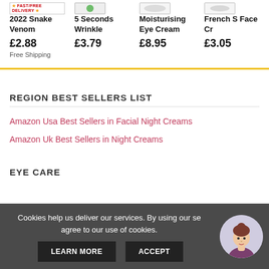2022 Snake Venom | £2.88 | Free Shipping
5 Seconds Wrinkle | £3.79
Moisturising Eye Cream | £8.95
French S Face Cr | £3.05
REGION BEST SELLERS LIST
Amazon Usa Best Sellers in Facial Night Creams
Amazon Uk Best Sellers in Night Creams
EYE CARE
Cookies help us deliver our services. By using our se agree to our use of cookies.
LEARN MORE
ACCEPT